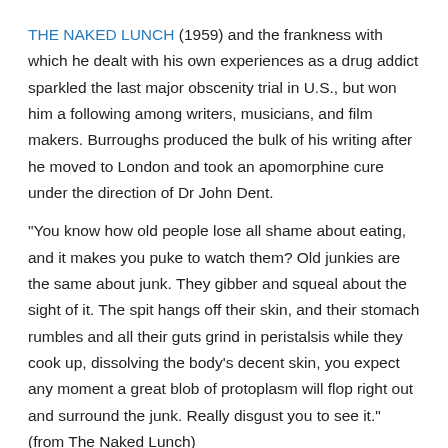THE NAKED LUNCH (1959) and the frankness with which he dealt with his own experiences as a drug addict sparkled the last major obscenity trial in U.S., but won him a following among writers, musicians, and film makers. Burroughs produced the bulk of his writing after he moved to London and took an apomorphine cure under the direction of Dr John Dent.
“You know how old people lose all shame about eating, and it makes you puke to watch them? Old junkies are the same about junk. They gibber and squeal about the sight of it. The spit hangs off their skin, and their stomach rumbles and all their guts grind in peristalsis while they cook up, dissolving the body’s decent skin, you expect any moment a great blob of protoplasm will flop right out and surround the junk. Really disgust you to see it.” (from The Naked Lunch)